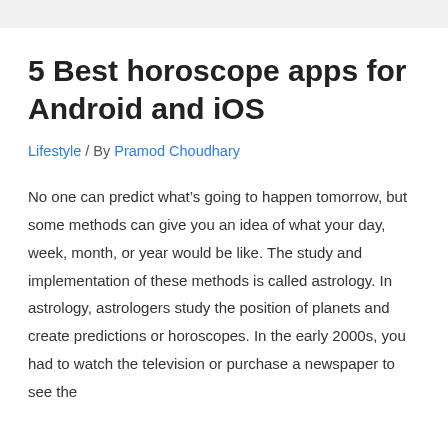5 Best horoscope apps for Android and iOS
Lifestyle / By Pramod Choudhary
No one can predict what’s going to happen tomorrow, but some methods can give you an idea of what your day, week, month, or year would be like. The study and implementation of these methods is called astrology. In astrology, astrologers study the position of planets and create predictions or horoscopes. In the early 2000s, you had to watch the television or purchase a newspaper to see the